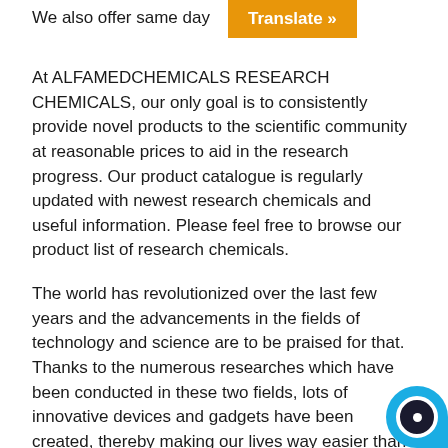We also offer same day
[Figure (other): Orange button with white bold text reading 'Translate »']
At ALFAMEDCHEMICALS RESEARCH CHEMICALS, our only goal is to consistently provide novel products to the scientific community at reasonable prices to aid in the research progress. Our product catalogue is regularly updated with newest research chemicals and useful information. Please feel free to browse our product list of research chemicals.
The world has revolutionized over the last few years and the advancements in the fields of technology and science are to be praised for that. Thanks to the numerous researches which have been conducted in these two fields, lots of innovative devices and gadgets have been created, thereby making our lives way easier than what it used to be. There are numerous things which are needed by the researchers and scientists for completing these experiments successfully and research chemicals are one of them. It is almost impossible to complete these experiments without the research chemicals and that is why these are always in high demand and researches are always in search for these.
To conduct a research, it is important to find the correct quality and standard of research chemicals, synthetic cannabinoids. If the scientists are able to use the correct amount and quality of